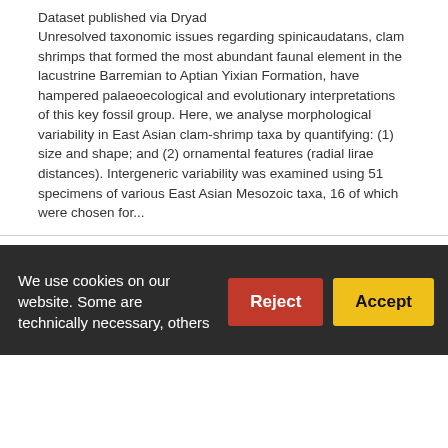Dataset published via Dryad
Unresolved taxonomic issues regarding spinicaudatans, clam shrimps that formed the most abundant faunal element in the lacustrine Barremian to Aptian Yixian Formation, have hampered palaeoecological and evolutionary interpretations of this key fossil group. Here, we analyse morphological variability in East Asian clam-shrimp taxa by quantifying: (1) size and shape; and (2) ornamental features (radial lirae distances). Intergeneric variability was examined using 51 specimens of various East Asian Mesozoic taxa, 16 of which were chosen for...
1 citation  71 views  10 downloads
https://doi.org/10.5061/dryad.fp001  Cite
Data from: Phyletic change and...
We use cookies on our website. Some are technically necessary, others